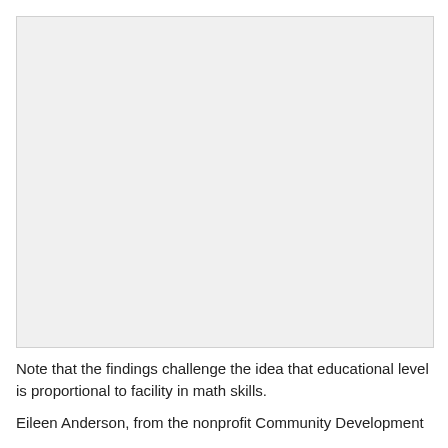[Figure (other): Large blank or image area occupying the upper portion of the page]
Note that the findings challenge the idea that educational level is proportional to facility in math skills.
Eileen Anderson, from the nonprofit Community Development